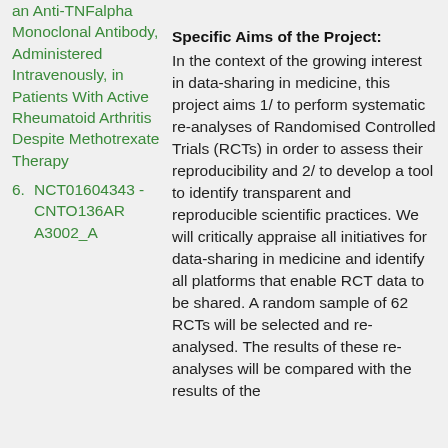an Anti-TNFalpha Monoclonal Antibody, Administered Intravenously, in Patients With Active Rheumatoid Arthritis Despite Methotrexate Therapy
6. NCT01604343 - CNTO136ARA3002_A
Specific Aims of the Project:
In the context of the growing interest in data-sharing in medicine, this project aims 1/ to perform systematic re-analyses of Randomised Controlled Trials (RCTs) in order to assess their reproducibility and 2/ to develop a tool to identify transparent and reproducible scientific practices. We will critically appraise all initiatives for data-sharing in medicine and identify all platforms that enable RCT data to be shared. A random sample of 62 RCTs will be selected and re-analysed. The results of these re-analyses will be compared with the results of the